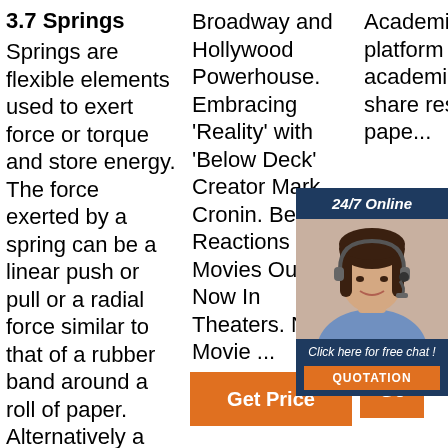3.7 Springs
Springs are flexible elements used to exert force or torque and store energy. The force exerted by a spring can be a linear push or pull or a radial force similar to that of a rubber band around a roll of paper. Alternatively a
Broadway and Hollywood Powerhouse. Embracing 'Reality' with 'Below Deck' Creator Mark Cronin. Best Reactions to Movies Out Now In Theaters. New Movie ...
[Figure (other): 24/7 Online customer support ad with woman wearing headset, Click here for free chat!, QUOTATION button]
Academia.edu is a platform for academics to share research pape...
[Figure (other): Orange Get Price button]
[Figure (logo): TOP arrow logo with orange dots forming upward triangle above the word TOP]